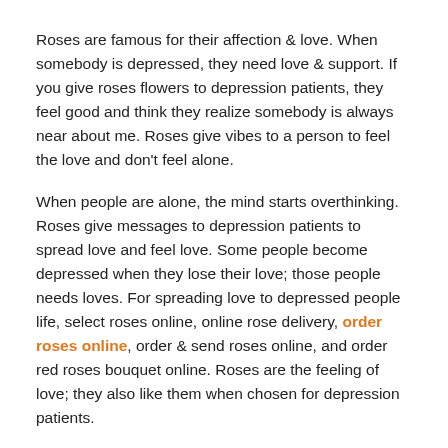Roses are famous for their affection & love. When somebody is depressed, they need love & support. If you give roses flowers to depression patients, they feel good and think they realize somebody is always near about me. Roses give vibes to a person to feel the love and don’t feel alone.
When people are alone, the mind starts overthinking. Roses give messages to depression patients to spread love and feel love. Some people become depressed when they lose their love; those people needs loves. For spreading love to depressed people life, select roses online, online rose delivery, order roses online, order & send roses online, and order red roses bouquet online. Roses are the feeling of love; they also like them when chosen for depression patients.
Orchids flowers